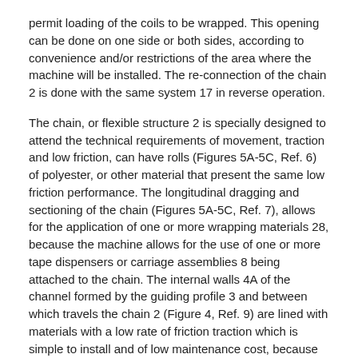permit loading of the coils to be wrapped. This opening can be done on one side or both sides, according to convenience and/or restrictions of the area where the machine will be installed. The re-connection of the chain 2 is done with the same system 17 in reverse operation.
The chain, or flexible structure 2 is specially designed to attend the technical requirements of movement, traction and low friction, can have rolls (Figures 5A-5C, Ref. 6) of polyester, or other material that present the same low friction performance. The longitudinal dragging and sectioning of the chain (Figures 5A-5C, Ref. 7), allows for the application of one or more wrapping materials 28, because the machine allows for the use of one or more tape dispensers or carriage assemblies 8 being attached to the chain. The internal walls 4A of the channel formed by the guiding profile 3 and between which travels the chain 2 (Figure 4, Ref. 9) are lined with materials with a low rate of friction traction which is simple to install and of low maintenance cost, because the traction unit 10, is external to the arch 4 providing easy access.
Figures 3, 11-13 show the bridge opening system 11 that